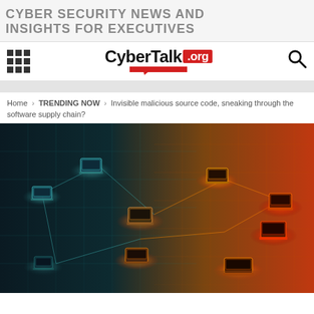CYBER SECURITY NEWS AND INSIGHTS FOR EXECUTIVES
[Figure (logo): CyberTalk.org logo with red chat bubble underline, hamburger grid icon on left, search icon on right]
Home > TRENDING NOW > Invisible malicious source code, sneaking through the software supply chain?
[Figure (illustration): Dark cyber network illustration showing multiple laptops with glowing halos connected by lines, transitioning from teal/dark on the left to orange/red on the right, representing a connected digital network or supply chain concept.]